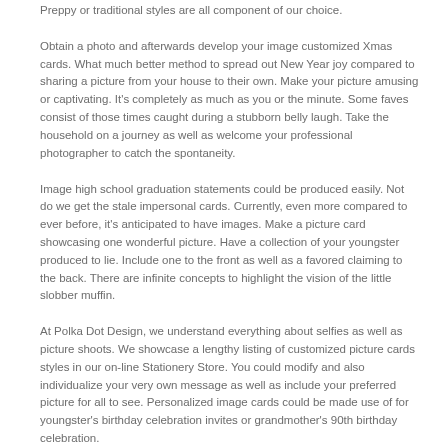Preppy or traditional styles are all component of our choice.
Obtain a photo and afterwards develop your image customized Xmas cards. What much better method to spread out New Year joy compared to sharing a picture from your house to their own. Make your picture amusing or captivating. It's completely as much as you or the minute. Some faves consist of those times caught during a stubborn belly laugh. Take the household on a journey as well as welcome your professional photographer to catch the spontaneity.
Image high school graduation statements could be produced easily. Not do we get the stale impersonal cards. Currently, even more compared to ever before, it's anticipated to have images. Make a picture card showcasing one wonderful picture. Have a collection of your youngster produced to lie. Include one to the front as well as a favored claiming to the back. There are infinite concepts to highlight the vision of the little slobber muffin.
At Polka Dot Design, we understand everything about selfies as well as picture shoots. We showcase a lengthy listing of customized picture cards styles in our on-line Stationery Store. You could modify and also individualize your very own message as well as include your preferred picture for all to see. Personalized image cards could be made use of for youngster's birthday celebration invites or grandmother's 90th birthday celebration.
If it's time to go coo panties for somebody's birth, standing out a picture on image birthday celebration invites is extremely enjoyable. Whether the birthday young boy or woman is young or old, you wish to make your mark. What much better means to sweeten up a chemical party? Including a picture of the important invitee confirms to win the heart. A